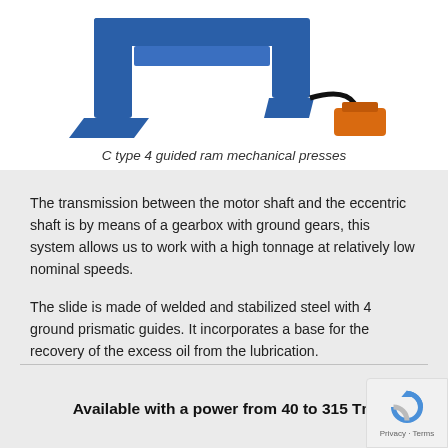[Figure (photo): Blue C-type 4 guided ram mechanical press with orange foot pedal controller, shown from a partial upper angle against white background]
C type 4 guided ram mechanical presses
The transmission between the motor shaft and the eccentric shaft is by means of a gearbox with ground gears, this system allows us to work with a high tonnage at relatively low nominal speeds.
The slide is made of welded and stabilized steel with 4 ground prismatic guides. It incorporates a base for the recovery of the excess oil from the lubrication.
Available with a power from 40 to 315 Tn.